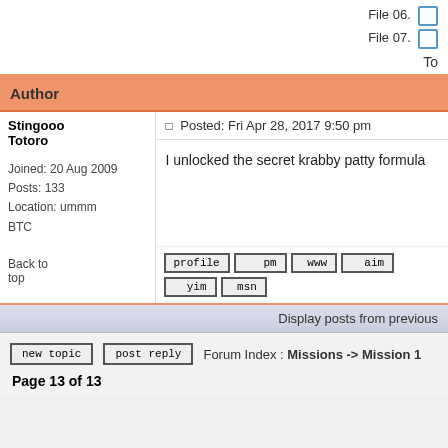File 06. [checkbox]
File 07. [checkbox]
To
| Author |  |
| --- | --- |
| Stingooo Totoro
Joined: 20 Aug 2009
Posts: 133
Location: ummm
BTC | Posted: Fri Apr 28, 2017 9:50 pm
I unlocked the secret krabby patty formula |
Display posts from previous
Forum Index : Missions -> Mission 1
Page 13 of 13